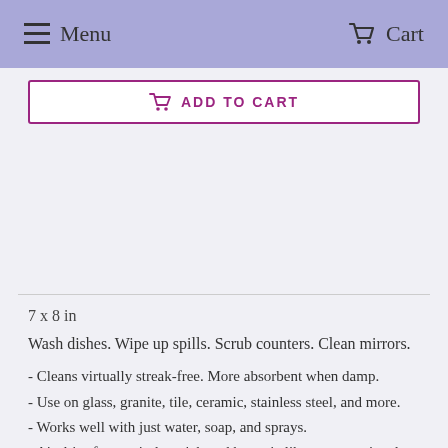Menu  Cart
ADD TO CART
7 x 8 in
Wash dishes. Wipe up spills. Scrub counters. Clean mirrors.
- Cleans virtually streak-free. More absorbent when damp.
- Use on glass, granite, tile, ceramic, stainless steel, and more.
- Works well with just water, soap, and sprays.
- Air dries fast, so it doesn't breed bacteria like a conventional (disposable!) sponge.
- Dry flat, or drape over the sink or faucet. The more surface